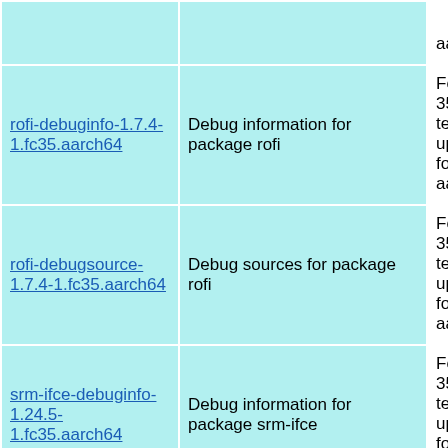| (truncated top) |  | ...aarch64 |
| rofi-debuginfo-1.7.4-1.fc35.aarch64 | Debug information for package rofi | Fedora 35 testing updates for aarch64 |
| rofi-debugsource-1.7.4-1.fc35.aarch64 | Debug sources for package rofi | Fedora 35 testing updates for aarch64 |
| srm-ifce-debuginfo-1.24.5-1.fc35.aarch64 | Debug information for package srm-ifce | Fedora 35 testing updates for aarch64 |
| srm-ifce-debugsource-1.24.5-1.fc35.aarch64 | Debug sources for package srm-ifce | Fedora 35 testing updates for aarch64 (partial) |